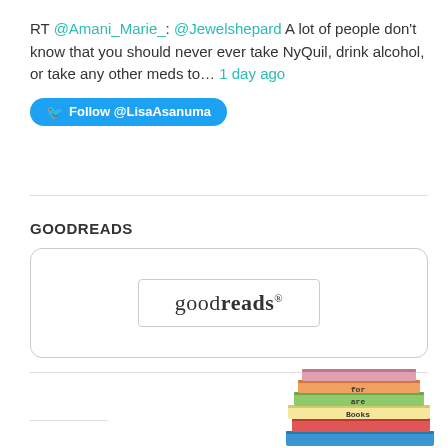RT @Amani_Marie_: @Jewelshepard A lot of people don't know that you should never ever take NyQuil, drink alcohol, or take any other meds to… 1 day ago
Follow @LisaAsanuma
GOODREADS
[Figure (logo): Goodreads logo inside a rounded rectangle widget box]
[Figure (illustration): Stack of colorful books with text 'Books are for' visible on the spines]